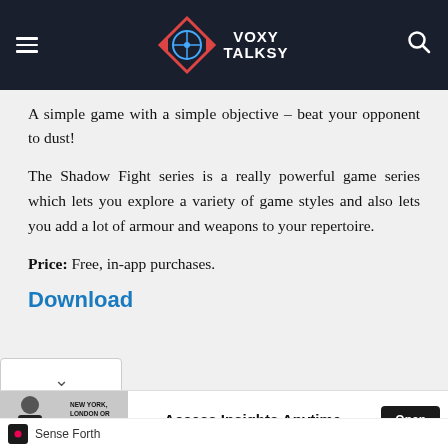VoxyTalksy
A simple game with a simple objective – beat your opponent to dust!
The Shadow Fight series is a really powerful game series which lets you explore a variety of game styles and also lets you add a lot of armour and weapons to your repertoire.
Price: Free, in-app purchases.
Download
[Figure (other): Advertisement banner: New York, London or Singapore. Access Insights Anytime. Open button. Sense Forth attribution.]